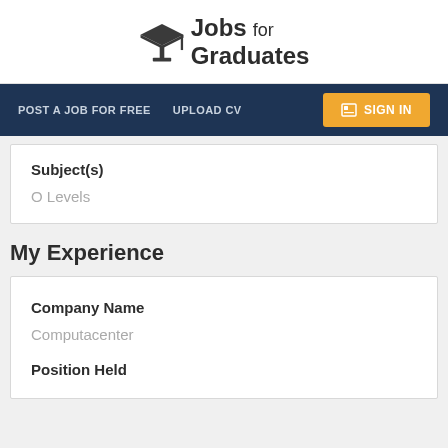[Figure (logo): Jobs for Graduates logo with graduation cap icon]
POST A JOB FOR FREE   UPLOAD CV   SIGN IN
Subject(s)
O Levels
My Experience
Company Name
Computacenter
Position Held